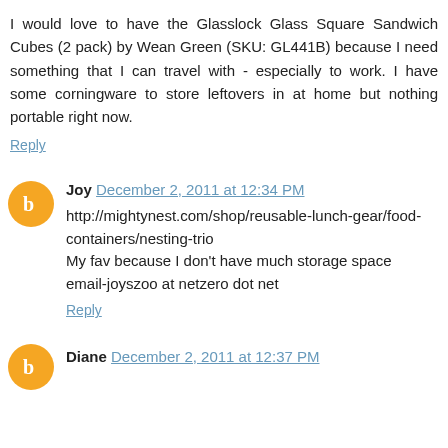I would love to have the Glasslock Glass Square Sandwich Cubes (2 pack) by Wean Green (SKU: GL441B) because I need something that I can travel with - especially to work. I have some corningware to store leftovers in at home but nothing portable right now.
Reply
Joy  December 2, 2011 at 12:34 PM
http://mightynest.com/shop/reusable-lunch-gear/food-containers/nesting-trio
My fav because I don't have much storage space
email-joyszoo at netzero dot net
Reply
Diane  December 2, 2011 at 12:37 PM